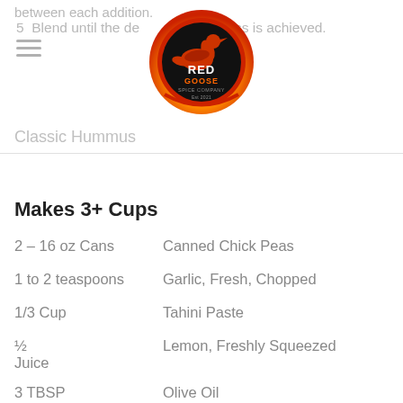between each addition.
5  Blend until the desired smoothness is achieved.
[Figure (logo): Red Goose Spice Company circular logo with goose silhouette on black background with orange/yellow flame border, Est 2021]
Classic Hummus
Makes 3+ Cups
2 – 16 oz Cans          Canned Chick Peas
1 to 2 teaspoons        Garlic, Fresh, Chopped
1/3 Cup                 Tahini Paste
½ Juice                 Lemon, Freshly Squeezed
3 TBSP                  Olive Oil